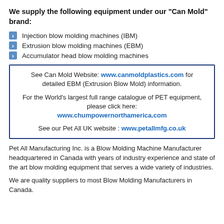We supply the following equipment under our "Can Mold" brand:
Injection blow molding machines (IBM)
Extrusion blow molding machines (EBM)
Accumulator head blow molding machines
See Can Mold Website: www.canmoldplastics.com for detailed EBM (Extrusion Blow Mold) information.

For the World's largest full range catalogue of PET equipment, please click here: www.chumpowernorthamerica.com

See our Pet All UK website : www.petallmfg.co.uk
Pet All Manufacturing Inc. is a Blow Molding Machine Manufacturer headquartered in Canada with years of industry experience and state of the art blow molding equipment that serves a wide variety of industries.
We are quality suppliers to most Blow Molding Manufacturers in Canada.